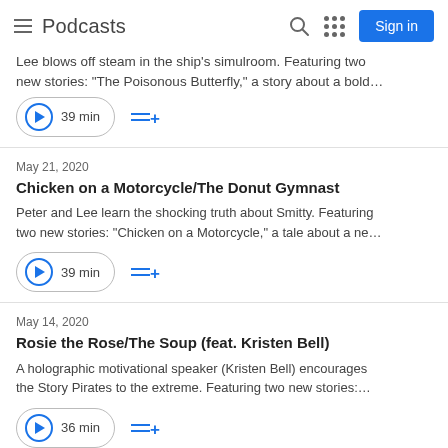Podcasts
Lee blows off steam in the ship's simulroom. Featuring two new stories: "The Poisonous Butterfly," a story about a bold…
39 min
May 21, 2020
Chicken on a Motorcycle/The Donut Gymnast
Peter and Lee learn the shocking truth about Smitty. Featuring two new stories: "Chicken on a Motorcycle," a tale about a ne…
39 min
May 14, 2020
Rosie the Rose/The Soup (feat. Kristen Bell)
A holographic motivational speaker (Kristen Bell) encourages the Story Pirates to the extreme. Featuring two new stories:…
36 min